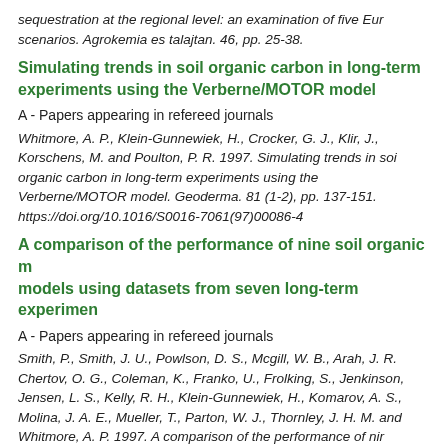sequestration at the regional level: an examination of five Eur scenarios. Agrokemia es talajtan. 46, pp. 25-38.
Simulating trends in soil organic carbon in long-term experiments using the Verberne/MOTOR model
A - Papers appearing in refereed journals
Whitmore, A. P., Klein-Gunnewiek, H., Crocker, G. J., Klir, J., Korschens, M. and Poulton, P. R. 1997. Simulating trends in soil organic carbon in long-term experiments using the Verberne/MOTOR model. Geoderma. 81 (1-2), pp. 137-151. https://doi.org/10.1016/S0016-7061(97)00086-4
A comparison of the performance of nine soil organic m models using datasets from seven long-term experimen
A - Papers appearing in refereed journals
Smith, P., Smith, J. U., Powlson, D. S., Mcgill, W. B., Arah, J. R. Chertov, O. G., Coleman, K., Franko, U., Frolking, S., Jenkinson, Jensen, L. S., Kelly, R. H., Klein-Gunnewiek, H., Komarov, A. S., Molina, J. A. E., Mueller, T., Parton, W. J., Thornley, J. H. M. and Whitmore, A. P. 1997. A comparison of the performance of nir